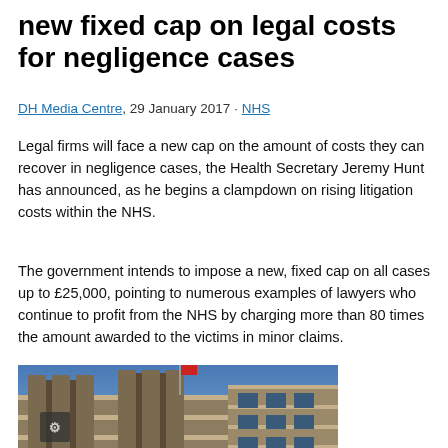new fixed cap on legal costs for negligence cases
DH Media Centre, 29 January 2017 · NHS
Legal firms will face a new cap on the amount of costs they can recover in negligence cases, the Health Secretary Jeremy Hunt has announced, as he begins a clampdown on rising litigation costs within the NHS.
The government intends to impose a new, fixed cap on all cases up to £25,000, pointing to numerous examples of lawyers who continue to profit from the NHS by charging more than 80 times the amount awarded to the victims in minor claims.
[Figure (photo): Low-angle photograph of a historic British government building with ornate stone columns and gothic architectural details against a blue sky, with a flag visible at the top.]